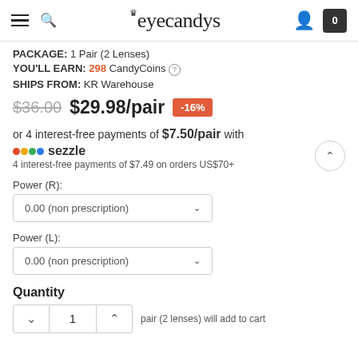eyecandys
PACKAGE: 1 Pair (2 Lenses)
YOU'LL EARN: 298 CandyCoins ⓘ
SHIPS FROM: KR Warehouse
$36.00  $29.98/pair  -16%
or 4 interest-free payments of $7.50/pair with sezzle
4 interest-free payments of $7.49 on orders US$70+
Power (R):
0.00 (non prescription)
Power (L):
0.00 (non prescription)
Quantity
1  pair (2 lenses) will add to cart